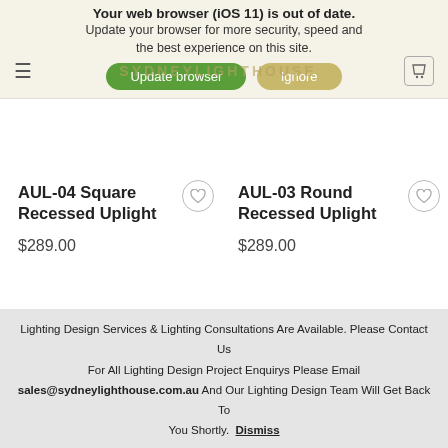[Figure (screenshot): Browser update warning banner with text 'Your web browser (iOS 11) is out of date. Update your browser for more security, speed and the best experience on this site.' with green 'Update browser' button and gold 'Ignore' button]
SYDNEYLIGHTHOUSE (logo/nav bar)
AUL-04 Square Recessed Uplight
$289.00
AUL-03 Round Recessed Uplight
$289.00
[Figure (photo): Silver cylindrical recessed uplight product photo]
[Figure (photo): Gold/brass cylindrical recessed uplight product photo]
Lighting Design Services & Lighting Consultations Are Available. Please Contact Us For All Lighting Design Project Enquirys Please Email sales@sydneylighthouse.com.au And Our Lighting Design Team Will Get Back To You Shortly. Dismiss